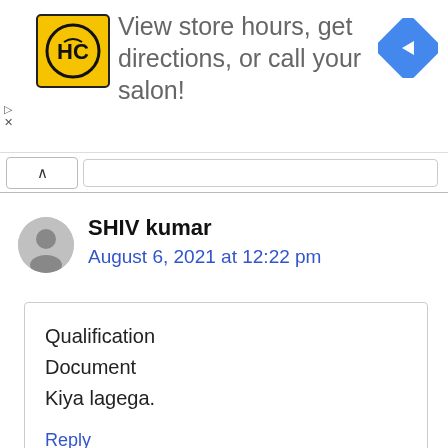[Figure (logo): HC logo on yellow background square with rounded corners]
View store hours, get directions, or call your salon!
[Figure (illustration): Blue diamond navigation arrow icon]
SHIV kumar
August 6, 2021 at 12:22 pm
Qualification
Document
Kiya lagega.
Reply